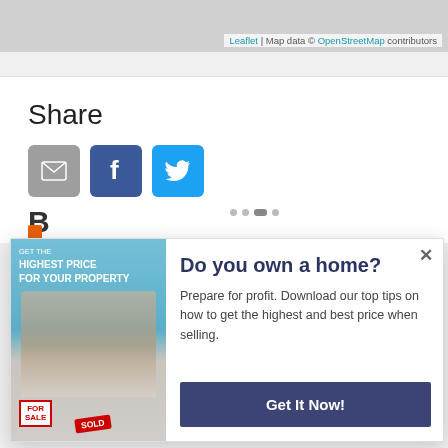[Figure (map): Map area at top of page with Leaflet/OpenStreetMap attribution]
Leaflet | Map data © OpenStreetMap contributors
Share
[Figure (infographic): Share buttons: email (grey), Facebook (blue), Twitter (light blue)]
[Figure (infographic): Popup modal: 'Do you own a home?' with image of couple holding For Sale and Sold signs, body text, and Get It Now button]
Do you own a home?
Prepare for profit. Download our top tips on how to get the highest and best price when selling.